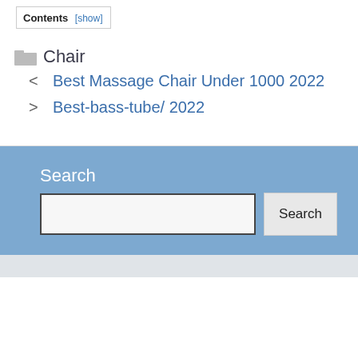Contents [show]
Chair
Best Massage Chair Under 1000 2022
Best-bass-tube/ 2022
Search
[Figure (screenshot): Search input box and Search button]